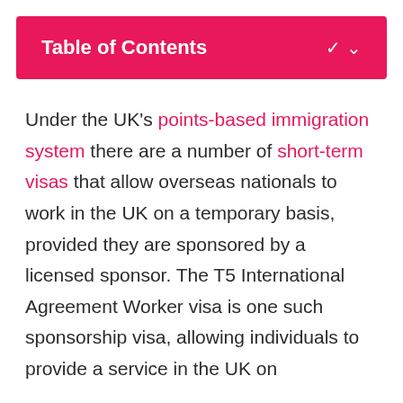Table of Contents
Under the UK's points-based immigration system there are a number of short-term visas that allow overseas nationals to work in the UK on a temporary basis, provided they are sponsored by a licensed sponsor. The T5 International Agreement Worker visa is one such sponsorship visa, allowing individuals to provide a service in the UK on